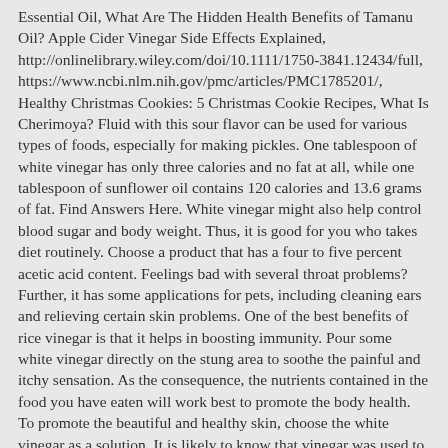Essential Oil, What Are The Hidden Health Benefits of Tamanu Oil? Apple Cider Vinegar Side Effects Explained, http://onlinelibrary.wiley.com/doi/10.1111/1750-3841.12434/full, https://www.ncbi.nlm.nih.gov/pmc/articles/PMC1785201/, Healthy Christmas Cookies: 5 Christmas Cookie Recipes, What Is Cherimoya? Fluid with this sour flavor can be used for various types of foods, especially for making pickles. One tablespoon of white vinegar has only three calories and no fat at all, while one tablespoon of sunflower oil contains 120 calories and 13.6 grams of fat. Find Answers Here. White vinegar might also help control blood sugar and body weight. Thus, it is good for you who takes diet routinely. Choose a product that has a four to five percent acetic acid content. Feelings bad with several throat problems? Further, it has some applications for pets, including cleaning ears and relieving certain skin problems. One of the best benefits of rice vinegar is that it helps in boosting immunity. Pour some white vinegar directly on the stung area to soothe the painful and itchy sensation. As the consequence, the nutrients contained in the food you have eaten will work best to promote the body health. To promote the beautiful and healthy skin, choose the white vinegar as a solution. It is likely to know that vinegar was used to heal the wounds. The acetic acid and alpha-hydroxy acids present in white vinegar helps in tightening the pores, and leaves the face with a refreshing